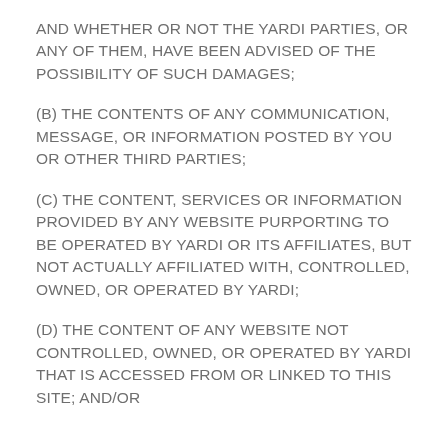AND WHETHER OR NOT THE YARDI PARTIES, OR ANY OF THEM, HAVE BEEN ADVISED OF THE POSSIBILITY OF SUCH DAMAGES;
(B) THE CONTENTS OF ANY COMMUNICATION, MESSAGE, OR INFORMATION POSTED BY YOU OR OTHER THIRD PARTIES;
(C) THE CONTENT, SERVICES OR INFORMATION PROVIDED BY ANY WEBSITE PURPORTING TO BE OPERATED BY YARDI OR ITS AFFILIATES, BUT NOT ACTUALLY AFFILIATED WITH, CONTROLLED, OWNED, OR OPERATED BY YARDI;
(D) THE CONTENT OF ANY WEBSITE NOT CONTROLLED, OWNED, OR OPERATED BY YARDI THAT IS ACCESSED FROM OR LINKED TO THIS SITE; AND/OR